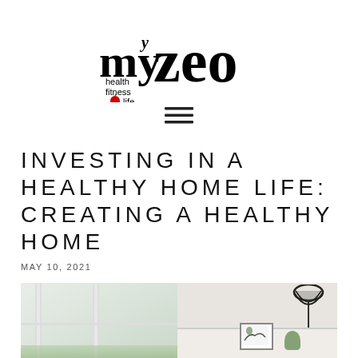[Figure (logo): myZeo health fitness life logo with red apple icon]
[Figure (other): Hamburger menu icon (three horizontal lines)]
INVESTING IN A HEALTHY HOME LIFE: CREATING A HEALTHY HOME
MAY 10, 2021
[Figure (photo): Interior home photo showing bright windows on left side with green trees visible outside, and a corner shelf with a black wicker pendant lamp, framed botanical print, and small plant on the right side]